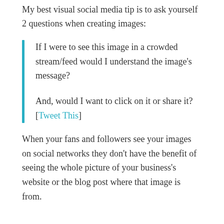My best visual social media tip is to ask yourself 2 questions when creating images:
If I were to see this image in a crowded stream/feed would I understand the image's message?

And, would I want to click on it or share it?  [Tweet This]
When your fans and followers see your images on social networks they don't have the benefit of seeing the whole picture of your business's website or the blog post where that image is from.